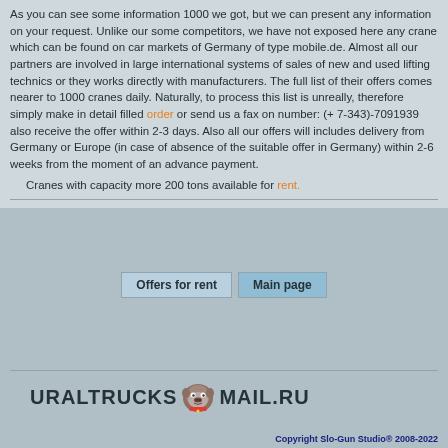As you can see some information 1000 we got, but we can present any information on your request. Unlike our some competitors, we have not exposed here any crane which can be found on car markets of Germany of type mobile.de. Almost all our partners are involved in large international systems of sales of new and used lifting technics or they works directly with manufacturers. The full list of their offers comes nearer to 1000 cranes daily. Naturally, to process this list is unreally, therefore simply make in detail filled order or send us a fax on number: (+7-343)-7091939 also receive the offer within 2-3 days. Also all our offers will includes delivery from Germany or Europe (in case of absence of the suitable offer in Germany) within 2-6 weeks from the moment of an advance payment.
  Cranes with capacity more 200 tons available for rent.
Offers for rent
Main page
[Figure (logo): URALTRUCKS logo with bulldog icon and MAIL.RU text]
Copyright Slo-Gun Studio® 2008-2022